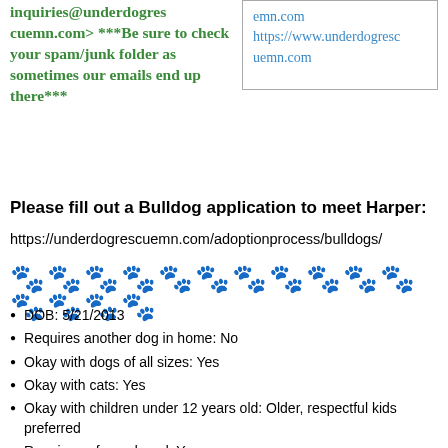inquiries@underdogrescuemn.com> ***Be sure to check your spam/junk folder as sometimes our emails end up there***
emn.com https://www.underdogrescuemn.com
Please fill out a Bulldog application to meet Harper:
https://underdogrescuemn.com/adoptionprocess/bulldogs/
[Figure (illustration): A row of paw print emoji/symbols as a decorative divider]
DOB: 5/21/2013
Requires another dog in home: No
Okay with dogs of all sizes: Yes
Okay with cats: Yes
Okay with children under 12 years old: Older, respectful kids preferred
Requires a fenced yard:  Yes
Note: dogs must always be leashed whenever outside of a contained area